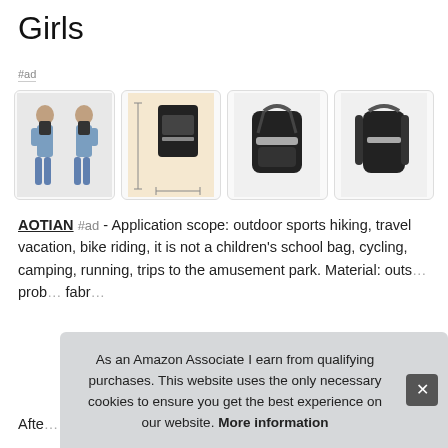Girls
#ad
[Figure (photo): Four product images of a black backpack: two models wearing it, size comparison, front view, and side view]
AOTIAN #ad - Application scope: outdoor sports hiking, travel vacation, bike riding, it is not a children's school bag, cycling, camping, running, trips to the amusement park. Material: outs… prob… fabr…
Afte…
As an Amazon Associate I earn from qualifying purchases. This website uses the only necessary cookies to ensure you get the best experience on our website. More information